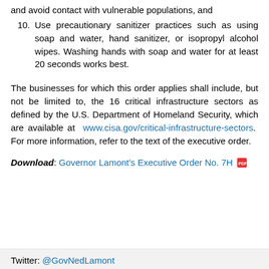and avoid contact with vulnerable populations, and
10. Use precautionary sanitizer practices such as using soap and water, hand sanitizer, or isopropyl alcohol wipes. Washing hands with soap and water for at least 20 seconds works best.
The businesses for which this order applies shall include, but not be limited to, the 16 critical infrastructure sectors as defined by the U.S. Department of Homeland Security, which are available at www.cisa.gov/critical-infrastructure-sectors. For more information, refer to the text of the executive order.
**Download: Governor Lamont's Executive Order No. 7H [pdf icon]
Twitter: @GovNedLamont